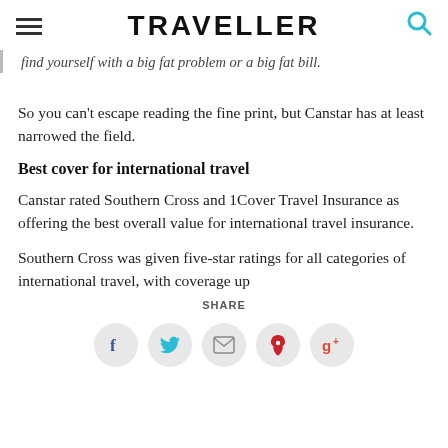TRAVELLER
find yourself with a big fat problem or a big fat bill.
So you can't escape reading the fine print, but Canstar has at least narrowed the field.
Best cover for international travel
Canstar rated Southern Cross and 1Cover Travel Insurance as offering the best overall value for international travel insurance.
Southern Cross was given five-star ratings for all categories of international travel, with coverage up
SHARE